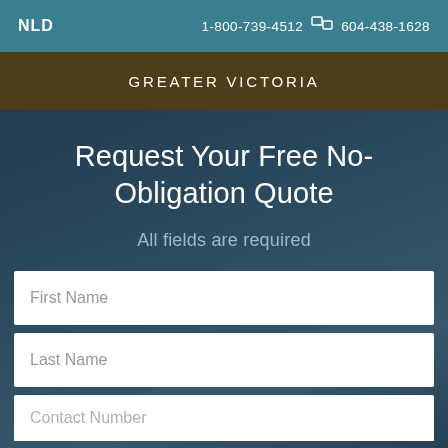NLD  1-800-739-4512  604-438-1628
GREATER VICTORIA
Request Your Free No-Obligation Quote
All fields are required
First Name
Last Name
Contact Number